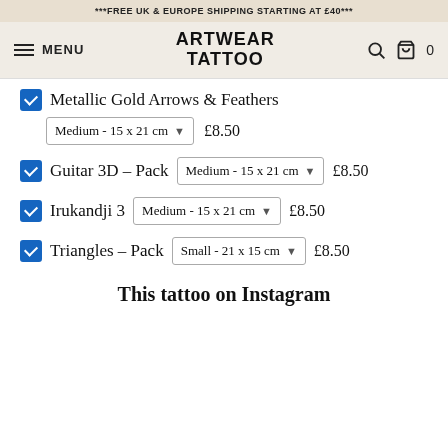***FREE UK & EUROPE SHIPPING STARTING AT £40***
ARTWEAR TATTOO — MENU
Metallic Gold Arrows & Feathers — Medium - 15 x 21 cm — £8.50
Guitar 3D – Pack — Medium - 15 x 21 cm — £8.50
Irukandji 3 — Medium - 15 x 21 cm — £8.50
Triangles – Pack — Small - 21 x 15 cm — £8.50
This tattoo on Instagram